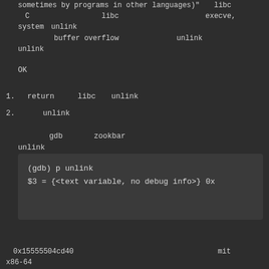sometimes by programs in other languages)"  libc　　　　　　　　　C　　　　　　　　　　libc　　　　　　　　　　　　execve, system　unlink　　　　　buffer overflow　　　　　　　　unlink　　　　　unlink
OK
1. 　return　　　libc　　unlink
2. 　　　unlink
gdb　　　　zookbar　　　　　　　　　　　　　　　unlink
[Figure (screenshot): gdb terminal output showing: (gdb) p unlink / $3 = {<text variable, no debug info>} 0x...]
、0x15555504cd40　　　　　　　　　　　　　　　　　　　　mit　　　　　　x86-64